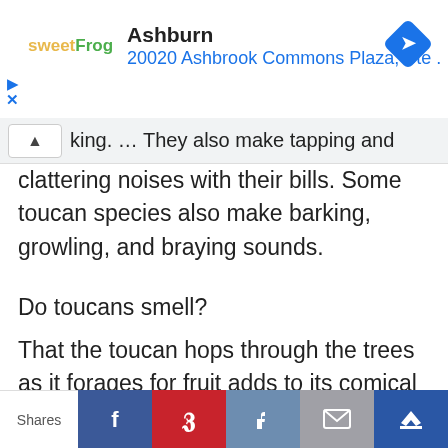[Figure (screenshot): Sweet Frog advertisement banner showing Ashburn location at 20020 Ashbrook Commons Plaza, Ste. with navigation arrow icon]
king. … They also make tapping and clattering noises with their bills. Some toucan species also make barking, growling, and braying sounds.
Do toucans smell?
That the toucan hops through the trees as it forages for fruit adds to its comical demeanor.
[Figure (screenshot): Social media share buttons: Facebook, Pinterest, Like, Email, Crown/Flipboard icons with Shares label]